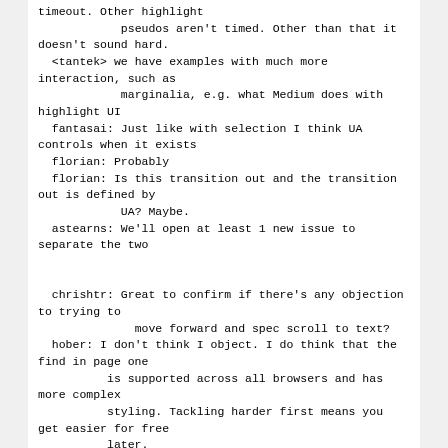timeout. Other highlight
            pseudos aren't timed. Other than that it doesn't sound hard.
  <tantek> we have examples with much more interaction, such as
            marginalia, e.g. what Medium does with highlight UI
  fantasai: Just like with selection I think UA controls when it exists
  florian: Probably
  florian: Is this transition out and the transition out is defined by
            UA? Maybe.
  astearns: We'll open at least 1 new issue to separate the two


  chrishtr: Great to confirm if there's any objection to trying to
              move forward and spec scroll to text?
  hober: I don't think I object. I do think that the find in page one
          is supported across all browsers and has more complex
          styling. Tackling harder first means you get easier for free
          later.
  florian: Not sure. At this point we're trying to see if the
          definition fits more problems.